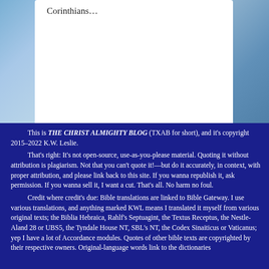[Figure (photo): Sky background with clouds and a white content card inset]
Corinthians…
This is THE CHRIST ALMIGHTY BLOG (TXAB for short), and it's copyright 2015–2022 K.W. Leslie. That's right: It's not open-source, use-as-you-please material. Quoting it without attribution is plagiarism. Not that you can't quote it!—but do it accurately, in context, with proper attribution, and please link back to this site. If you wanna republish it, ask permission. If you wanna sell it, I want a cut. That's all. No harm no foul. Credit where credit's due: Bible translations are linked to Bible Gateway. I use various translations, and anything marked KWL means I translated it myself from various original texts; the Biblia Hebraica, Rahlf's Septuagint, the Textus Receptus, the Nestle-Aland 28 or UBS5, the Tyndale House NT, SBL's NT, the Codex Sinaiticus or Vaticanus; yep I have a lot of Accordance modules. Quotes of other bible texts are copyrighted by their respective owners. Original-language words link to the dictionaries